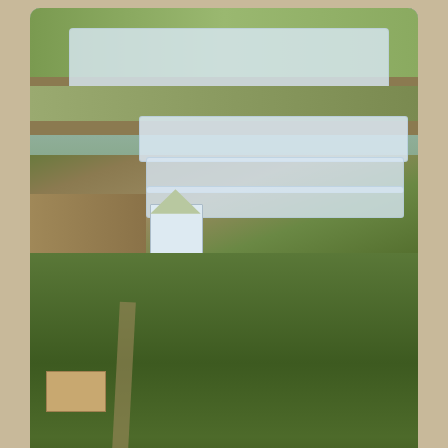[Figure (photo): Aerial view of terraced hillside farmland with plastic greenhouses/polytunnels on carved-out terraces, a small white house in the middle, surrounded by green vegetation and earthen paths.]
Terraces, hacked out of the hillside, get plastic greenhouses, in which to grow flowers, smothered in chemicals. Is this really development?
We recently visited a small farm where the main product is rice wine, but pigs are also raised. The farmer spends a great deal of money on coal to boil the rice, on feed for the pigs, and the pig waste is simply channeled into the adjacent stream. From an ecological agriculture point of view, it's a disaster. Inputs are being imported at high cost, outputs are being lost and pollution is rampant. Will, Loren and Paul are